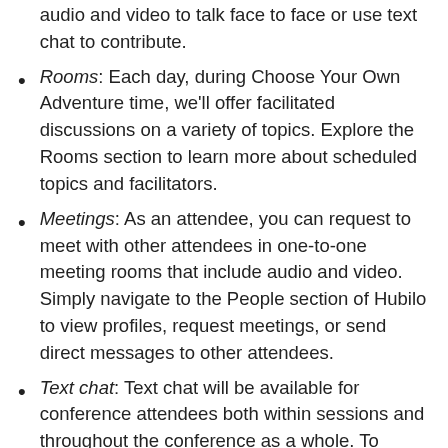audio and video to talk face to face or use text chat to contribute.
Rooms: Each day, during Choose Your Own Adventure time, we'll offer facilitated discussions on a variety of topics. Explore the Rooms section to learn more about scheduled topics and facilitators.
Meetings: As an attendee, you can request to meet with other attendees in one-to-one meeting rooms that include audio and video. Simply navigate to the People section of Hubilo to view profiles, request meetings, or send direct messages to other attendees.
Text chat: Text chat will be available for conference attendees both within sessions and throughout the conference as a whole. To access chat, expand the right sidebar menu. You can add comments, ask questions of other attendees, create polls, send images, and more.
Can I meet one-on-one with someone or chat with